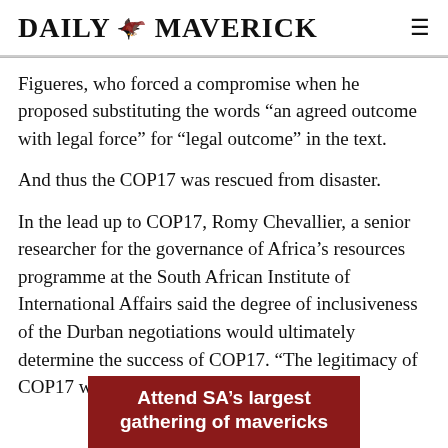DAILY MAVERICK
Figueres, who forced a compromise when he proposed substituting the words “an agreed outcome with legal force” for “legal outcome” in the text.
And thus the COP17 was rescued from disaster.
In the lead up to COP17, Romy Chevallier, a senior researcher for the governance of Africa’s resources programme at the South African Institute of International Affairs said the degree of inclusiveness of the Durban negotiations would ultimately determine the success of COP17. “The legitimacy of COP17 will be judged on its openness
[Figure (other): Advertisement banner: dark red background with white bold text reading 'Attend SA's largest gathering of mavericks']